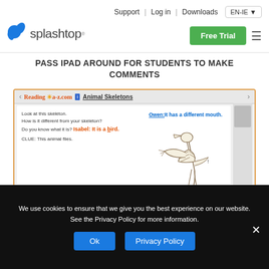Support | Log in | Downloads  EN-IE  Free Trial
[Figure (logo): Splashtop logo with blue splash icon and text 'splashtop']
PASS IPAD AROUND FOR STUDENTS TO MAKE COMMENTS
[Figure (screenshot): Screenshot of Reading a-z.com Animal Skeletons page showing a bird skeleton with student comments: Owen: It has a different mouth. (blue), Isabel: It is a bird. (orange/red), Jack: Bees fly too but they doent have beaks. (green), Kaylee: Bees don't have skeletons. (black). Text reads: Look at this skeleton. How is it different from your skeleton? Do you know what it is? CLUE: This animal flies.]
We use cookies to ensure that we give you the best experience on our website. See the Privacy Policy for more information.